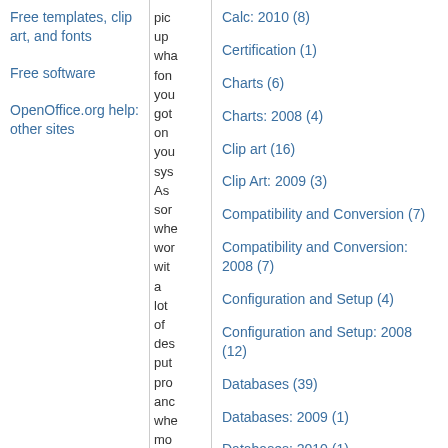Free templates, clip art, and fonts
Free software
OpenOffice.org help: other sites
pic up wha fon you got on you sys As sor whe wor wit a lot of des put pro anc whe mo
Calc: 2010 (8)
Certification (1)
Charts (6)
Charts: 2008 (4)
Clip art (16)
Clip Art: 2009 (3)
Compatibility and Conversion (7)
Compatibility and Conversion: 2008 (7)
Configuration and Setup (4)
Configuration and Setup: 2008 (12)
Databases (39)
Databases: 2009 (1)
Databases: 2010 (1)
Diagrams (12)